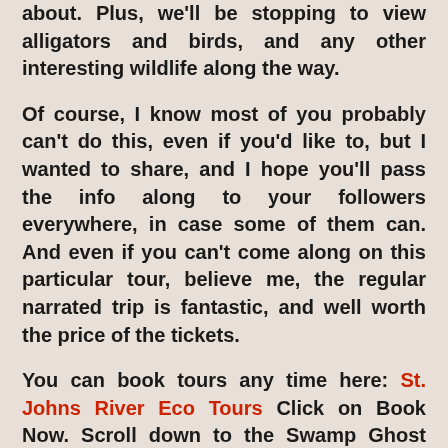about. Plus, we'll be stopping to view alligators and birds, and any other interesting wildlife along the way.

Of course, I know most of you probably can't do this, even if you'd like to, but I wanted to share, and I hope you'll pass the info along to your followers everywhere, in case some of them can. And even if you can't come along on this particular tour, believe me, the regular narrated trip is fantastic, and well worth the price of the tickets.

You can book tours any time here: St. Johns River Eco Tours Click on Book Now. Scroll down to the Swamp Ghost tours (in red) to book one